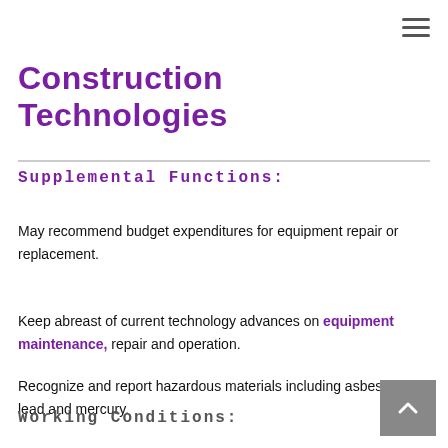[Figure (other): Hamburger menu icon (three horizontal lines) in top right corner]
Construction Technologies
Supplemental Functions:
May recommend budget expenditures for equipment repair or replacement.
Keep abreast of current technology advances on equipment maintenance, repair and operation.
Recognize and report hazardous materials including asbestos, lead and mercury.
Working Conditions: